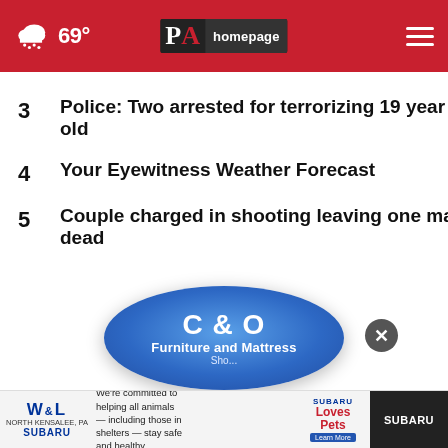PA Homepage — 69° weather header
3  Police: Two arrested for terrorizing 19 year old
4  Your Eyewitness Weather Forecast
5  Couple charged in shooting leaving one man dead
[Figure (logo): C&O Furniture and Mattress advertisement oval blue logo]
[Figure (logo): W&L Subaru advertisement banner — We're committed to helping all animals — including those in shelters — stay safe and healthy. Subaru Loves Pets.]